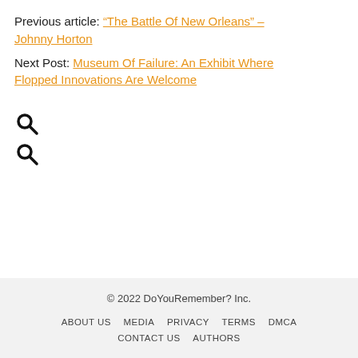Previous article: “The Battle Of New Orleans” – Johnny Horton
Next Post: Museum Of Failure: An Exhibit Where Flopped Innovations Are Welcome
[Figure (other): Two search (magnifying glass) icons stacked vertically]
© 2022 DoYouRemember? Inc.
ABOUT US   MEDIA   PRIVACY   TERMS   DMCA
CONTACT US   AUTHORS